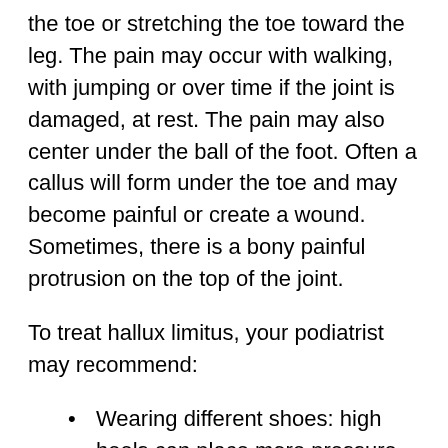the toe or stretching the toe toward the leg. The pain may occur with walking, with jumping or over time if the joint is damaged, at rest. The pain may also center under the ball of the foot. Often a callus will form under the toe and may become painful or create a wound. Sometimes, there is a bony painful protrusion on the top of the joint.
To treat hallux limitus, your podiatrist may recommend:
Wearing different shoes: high heels can place more pressure on the joint and cause two bones to grind on one another
Shoe inserts or orthotics with modifications to either increase